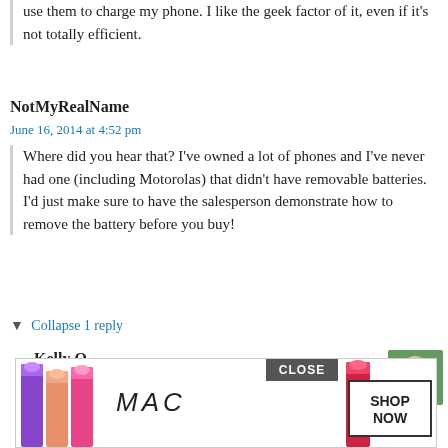use them to charge my phone. I like the geek factor of it, even if it's not totally efficient.
NotMyRealName
June 16, 2014 at 4:52 pm
Where did you hear that? I've owned a lot of phones and I've never had one (including Motorolas) that didn't have removable batteries. I'd just make sure to have the salesperson demonstrate how to remove the battery before you buy!
▼ Collapse 1 reply
Kelly O
June 16, 2014 at 5:44 pm
Some newer phones have a built-in batt... can't ...he ...msung
[Figure (photo): MAC cosmetics advertisement banner showing lipsticks in purple, peach, and pink colors with MAC logo and SHOP NOW button, with a CLOSE button overlay]